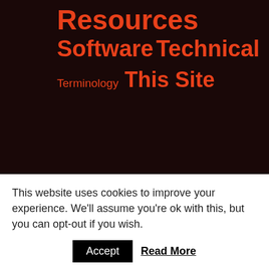Resources
Software
Technical
Terminology This Site
Recent Posts
Another look at Jewish given names in the Ultra-Orthodox community
This website uses cookies to improve your experience. We'll assume you're ok with this, but you can opt-out if you wish.
Accept  Read More